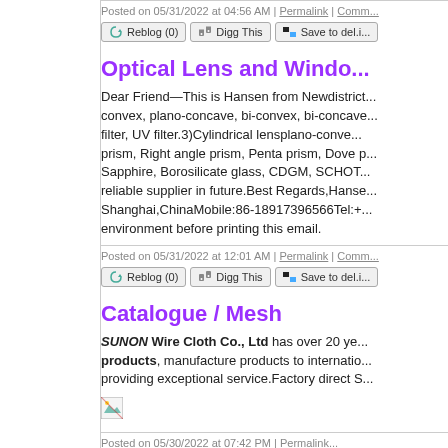Posted on 05/31/2022 at 04:56 AM | Permalink | Comm...
Reblog (0) | Digg This | Save to del.i...
Optical Lens and Windo...
Dear Friend This is Hansen from Newdistrict... convex, plano-concave, bi-convex, bi-concave... filter, UV filter.3)Cylindrical lensplano-conve... prism, Right angle prism, Penta prism, Dove p... Sapphire, Borosilicate glass, CDGM, SCHOT... reliable supplier in future.Best Regards,Hanse... Shanghai,ChinaMobile:86-18917396566Tel:+... environment before printing this email.
Posted on 05/31/2022 at 12:01 AM | Permalink | Comm...
Reblog (0) | Digg This | Save to del.i...
Catalogue / Mesh
SUNON Wire Cloth Co., Ltd has over 20 ye... products, manufacture products to internatio... providing exceptional service.Factory direct S...
[Figure (other): Small broken/placeholder image icon]
Posted on 05/30/2022 at 07:42 PM | Permalink...